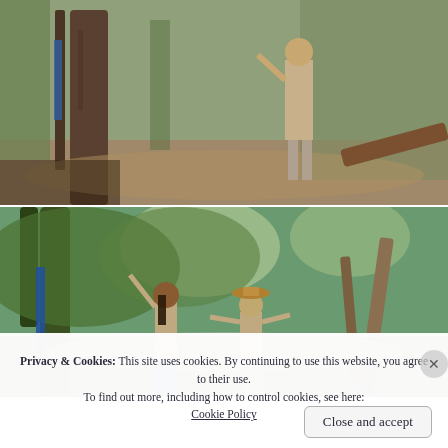[Figure (photo): Outdoor photo showing a person standing near a large tree in a wooded area with dry leaf-covered ground and brush in the background.]
[Figure (photo): Outdoor photo showing two shirtless people working in a wooded area with green trees and sunlight filtering through; one person is reaching up to a tree trunk wrapped with blue strapping.]
Privacy & Cookies: This site uses cookies. By continuing to use this website, you agree to their use.
To find out more, including how to control cookies, see here: Cookie Policy
Close and accept